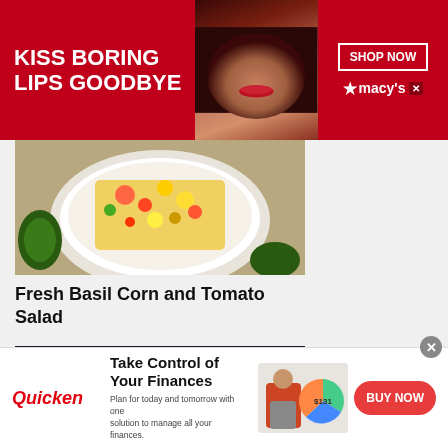[Figure (screenshot): Macy's advertisement banner: red background, woman's face with red lips, text 'KISS BORING LIPS GOODBYE', 'SHOP NOW' button, Macy's logo with star]
[Figure (photo): Food photo: bowl of fresh corn and tomato salad with colorful chopped vegetables, avocados visible on side, on burlap background]
Fresh Basil Corn and Tomato Salad
[Figure (photo): Food photo: golden brown corn fritter or pancake on a white plate with blue rim, fork visible, close-up shot]
[Figure (screenshot): Quicken advertisement: 'Take Control of Your Finances' with woman working on laptop, pie chart graphic, BUY NOW button]